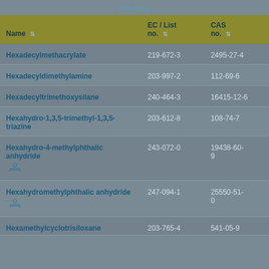Previous
| Name | EC / List no. | CAS no. |
| --- | --- | --- |
| Hexadecylmethacrylate | 219-672-3 | 2495-27-4 |
| Hexadecyldimethylamine | 203-997-2 | 112-69-6 |
| Hexadecyltrimethoxysilane | 240-464-3 | 16415-12-6 |
| Hexahydro-1,3,5-trimethyl-1,3,5-triazine | 203-612-8 | 108-74-7 |
| Hexahydro-4-methylphthalic anhydride | 243-072-0 | 19438-60-9 |
| Hexahydromethylphthalic anhydride | 247-094-1 | 25550-51-0 |
| Hexamethylcyclotrisiloxane | 203-765-4 | 541-05-9 |